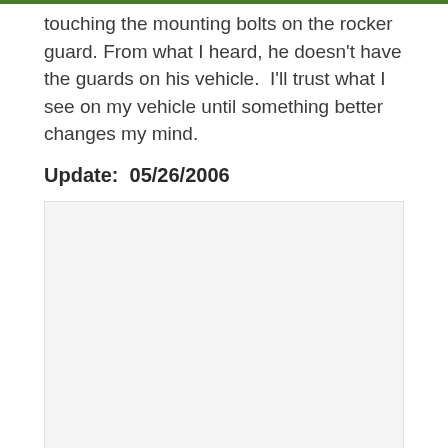touching the mounting bolts on the rocker guard. From what I heard, he doesn't have the guards on his vehicle.  I'll trust what I see on my vehicle until something better changes my mind.
Update:  05/26/2006
[Figure (photo): A large light gray placeholder image area, approximately rectangular, bordered by a thin light border.]